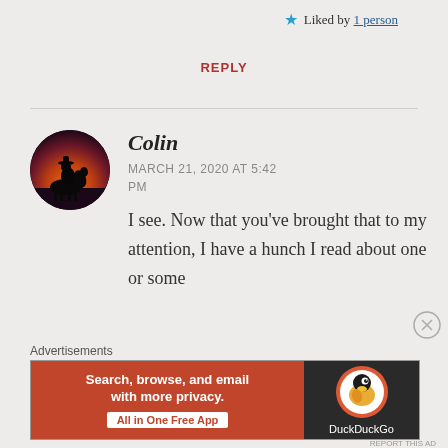★ Liked by 1 person
REPLY
[Figure (photo): Circular avatar image of a cowboy silhouette on horseback against a sunset sky]
Colin
MARCH 21, 2020 AT 5:42 PM
I see. Now that you've brought that to my attention, I have a hunch I read about one or some
Advertisements
[Figure (screenshot): DuckDuckGo advertisement banner: Search, browse, and email with more privacy. All in One Free App.]